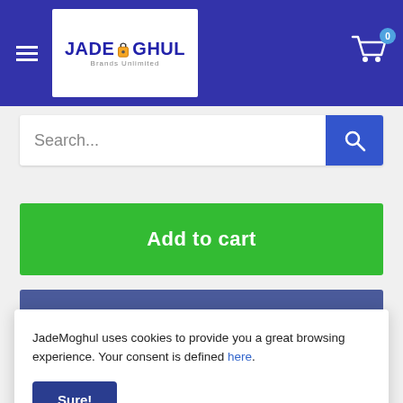[Figure (logo): JadeMoghul logo in white box with blue text and lock icon, on blue header background with hamburger menu and cart icon showing 0]
Search...
Add to cart
Buy it now
Share this product
JadeMoghul uses cookies to provide you a great browsing experience. Your consent is defined here.
Sure!